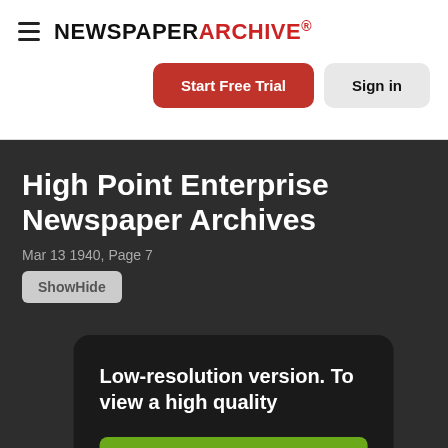NEWSPAPER ARCHIVE®
Start Free Trial
Sign in
High Point Enterprise Newspaper Archives
Mar 13 1940, Page 7
ShowHide
Low-resolution version. To view a high quality
Start Free Trial